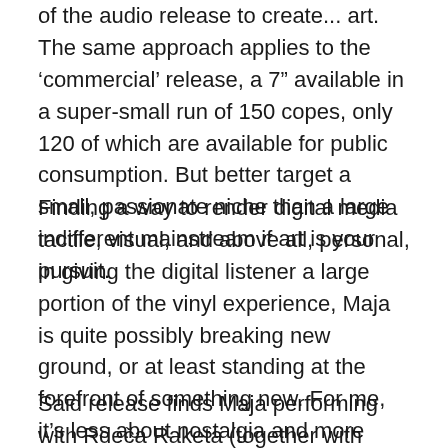of the audio release to create... art. The same approach applies to the 'commercial' release, a 7" available in a super-small run of 150 copes, only 120 of which are available for public consumption. But better target a small, passionate niche than a large indifferent mainstream if art is your pursuit.
Finding a way to render digital media tactile, visual, and above all, personal, in giving the digital listener a large portion of the vinyl experience, Maja is quite possibly breaking new ground, or at least standing at the forefront of something new. For me, it’s less about nostalgia and more about recovering some of what’s been lost with the demise of physical media.
Said release finds Maja performing with Rdeča Raketa (together with Matija Schellander, she’s integral to the duo also under the name of Rdeča Raketa) and on the...